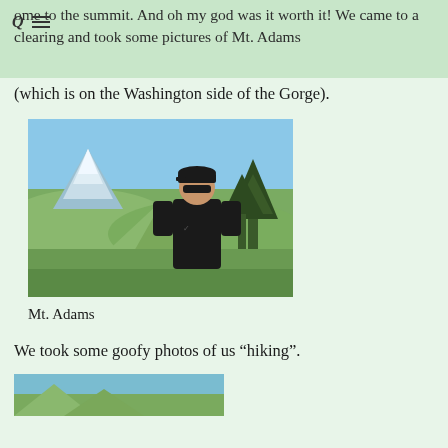ome to the summit. And oh my god was it worth it! We came to a clearing and took some pictures of Mt. Adams
(which is on the Washington side of the Gorge).
[Figure (photo): Man in black cap and sunglasses wearing a black Nike t-shirt standing at a mountain viewpoint. A snow-capped Mt. Adams is visible in the background with green rolling hills and trees.]
Mt. Adams
We took some goofy photos of us “hiking”.
[Figure (photo): Partially visible photo at bottom of page showing outdoor hiking scene.]